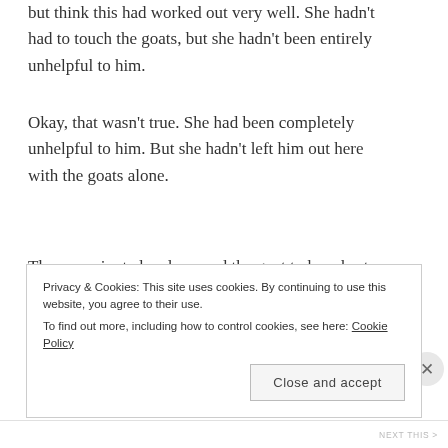but think this had worked out very well. She hadn't had to touch the goats, but she hadn't been entirely unhelpful to him.
Okay, that wasn't true. She had been completely unhelpful to him. But she hadn't left him out here with the goats alone.
The man pivoted and pressed the goat to her chest. Instinctively her arms went up and around it. He let go.
Privacy & Cookies: This site uses cookies. By continuing to use this website, you agree to their use.
To find out more, including how to control cookies, see here: Cookie Policy
Close and accept